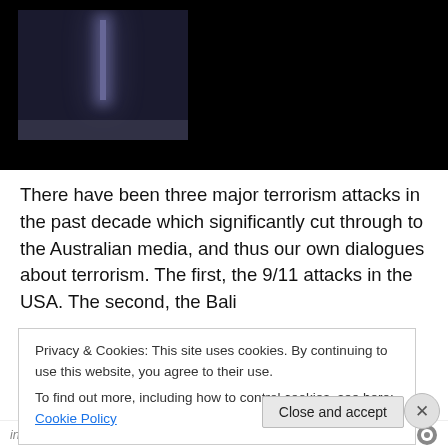[Figure (photo): Dark image showing a glowing light projection or screen in a dark room, positioned in upper left of a black background]
There have been three major terrorism attacks in the past decade which significantly cut through to the Australian media, and thus our own dialogues about terrorism. The first, the 9/11 attacks in the USA. The second, the Bali
Privacy & Cookies: This site uses cookies. By continuing to use this website, you agree to their use.
To find out more, including how to control cookies, see here: Cookie Policy
Close and accept
in less than a week